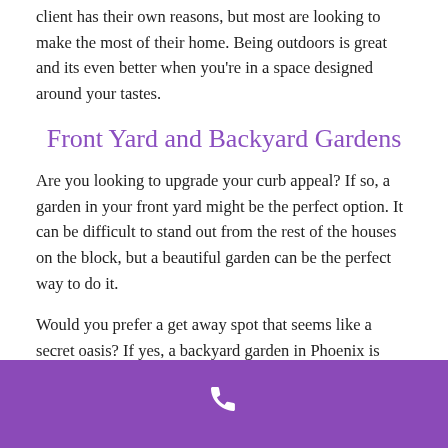client has their own reasons, but most are looking to make the most of their home. Being outdoors is great and its even better when you're in a space designed around your tastes.
Front Yard and Backyard Gardens
Are you looking to upgrade your curb appeal? If so, a garden in your front yard might be the perfect option. It can be difficult to stand out from the rest of the houses on the block, but a beautiful garden can be the perfect way to do it.
Would you prefer a get away spot that seems like a secret oasis? If yes, a backyard garden in Phoenix is exactly what you need. Create a little path to your favorite patch of stargazer lilies and enjoy an evening glass of wine.
Do You Need Some Property Design Ideas?
[Figure (other): Purple call-to-action bar with a white phone icon in the center]